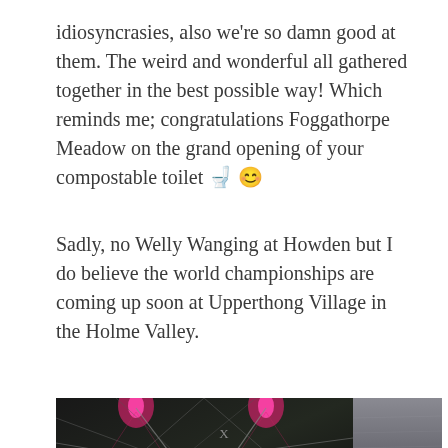idiosyncrasies, also we're so damn good at them. The weird and wonderful all gathered together in the best possible way! Which reminds me; congratulations Foggathorpe Meadow on the grand opening of your compostable toilet 🚽 😊
Sadly, no Welly Wanging at Howden but I do believe the world championships are coming up soon at Upperthong Village in the Holme Valley.
[Figure (photo): Two side-by-side photos: left photo shows the interior of a dark tent or marquee with geometric rope/cable patterns and pink/magenta lighting visible at the top; right photo shows a close-up of grey fabric or canvas material with a red edge visible at the bottom.]
X